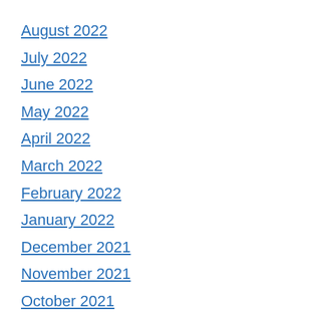August 2022
July 2022
June 2022
May 2022
April 2022
March 2022
February 2022
January 2022
December 2021
November 2021
October 2021
September 2021
May 2021